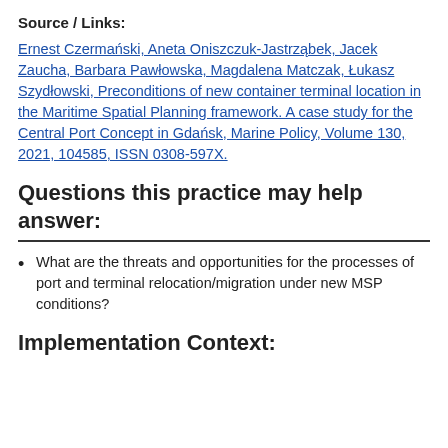Source / Links:
Ernest Czermański, Aneta Oniszczuk-Jastrząbek, Jacek Zaucha, Barbara Pawłowska, Magdalena Matczak, Łukasz Szydłowski, Preconditions of new container terminal location in the Maritime Spatial Planning framework. A case study for the Central Port Concept in Gdańsk, Marine Policy, Volume 130, 2021, 104585, ISSN 0308-597X.
Questions this practice may help answer:
What are the threats and opportunities for the processes of port and terminal relocation/migration under new MSP conditions?
Implementation Context: